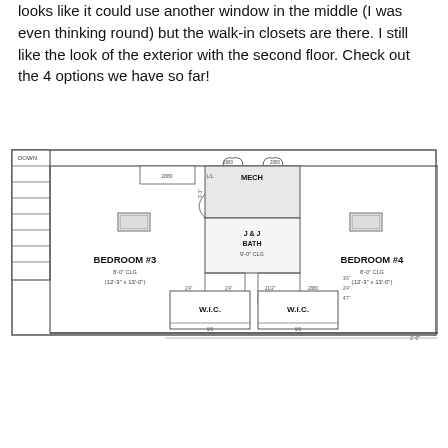looks like it could use another window in the middle (I was even thinking round) but the walk-in closets are there. I still like the look of the exterior with the second floor. Check out the 4 options we have so far!
[Figure (engineering-diagram): Second floor architectural plan showing Bedroom #3 (12'-3" x 13'-0"), Bedroom #4 (12'-3" x 13'-0"), J & J Bath, Mech room, two walk-in closets (W.I.C.), and staircase with DOWN label.]